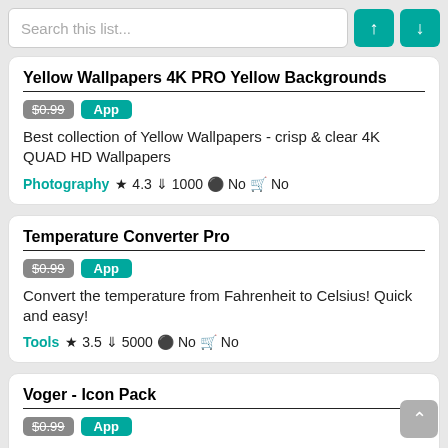Search this list...
Yellow Wallpapers 4K PRO Yellow Backgrounds
$0.99 App
Best collection of Yellow Wallpapers - crisp & clear 4K QUAD HD Wallpapers
Photography ★ 4.3 ⬇ 1000 ⬤ No 🛒 No
Temperature Converter Pro
$0.99 App
Convert the temperature from Fahrenheit to Celsius! Quick and easy!
Tools ★ 3.5 ⬇ 5000 ⬤ No 🛒 No
Voger - Icon Pack
$0.99 App
Brings your phone to a new awesome and unique look
Personalization ★ 3.9 ⬇ 10000 ⬤ No 🛒 No